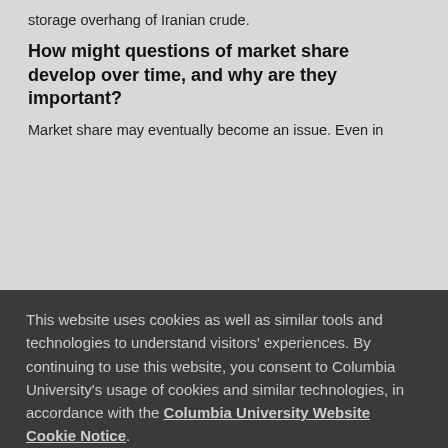storage overhang of Iranian crude.
How might questions of market share develop over time, and why are they important?
Market share may eventually become an issue. Even in
This website uses cookies as well as similar tools and technologies to understand visitors' experiences. By continuing to use this website, you consent to Columbia University's usage of cookies and similar technologies, in accordance with the Columbia University Website Cookie Notice.
I AGREE